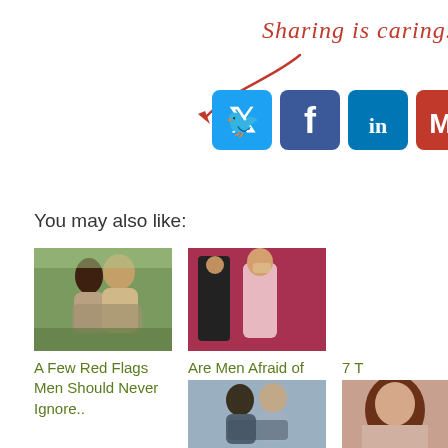Sharing is caring.
[Figure (infographic): Social sharing icons row: Twitter (blue bird), Facebook (blue f), LinkedIn (blue in), Gmail (red M), with a hand-drawn red arrow pointing to them and cursive text 'Sharing is caring.']
You may also like:
[Figure (photo): A man and woman hugging outdoors on grass, smiling.]
A Few Red Flags Men Should Never Ignore..
[Figure (photo): Woman in pink dress standing with a man, holding flowers, against a red background.]
Are Men Afraid of Rejection?
7 T... Wo... Ma... Da...
[Figure (photo): A couple hugging outdoors in winter clothing, smiling.]
[Figure (photo): A woman with curly hair, partially visible.]